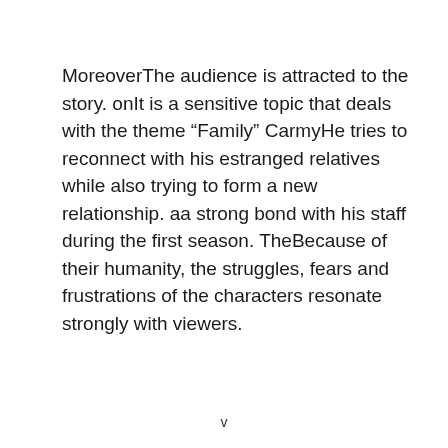MoreoverThe audience is attracted to the story. onIt is a sensitive topic that deals with the theme “Family” CarmyHe tries to reconnect with his estranged relatives while also trying to form a new relationship. aa strong bond with his staff during the first season. TheBecause of their humanity, the struggles, fears and frustrations of the characters resonate strongly with viewers.
v